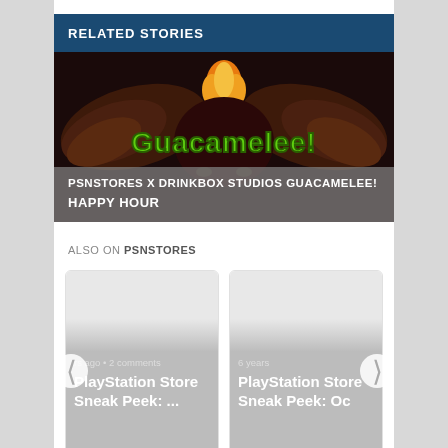RELATED STORIES
[Figure (illustration): Guacamelee! game logo with eagle wings and green stylized text on dark background, overlaid with a grey semi-transparent box containing the text 'PSNSTORES X DRINKBOX STUDIOS GUACAMELEE! HAPPY HOUR']
PSNSTORES X DRINKBOX STUDIOS GUACAMELEE!
HAPPY HOUR
ALSO ON PSNSTORES
rs ago • 2 comments
PlayStation Store Sneak Peek: ...
6 years
PlayStation Store Sneak Peek: Oc